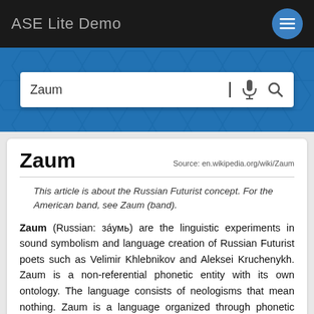ASE Lite Demo
Zaum
Zaum
Source: en.wikipedia.org/wiki/Zaum
This article is about the Russian Futurist concept. For the American band, see Zaum (band).
Zaum (Russian: зáумь) are the linguistic experiments in sound symbolism and language creation of Russian Futurist poets such as Velimir Khlebnikov and Aleksei Kruchenykh. Zaum is a non-referential phonetic entity with its own ontology. The language consists of neologisms that mean nothing. Zaum is a language organized through phonetic analogy and rhythm.[1] Zaum literature cannot contain any onomatopoeia or